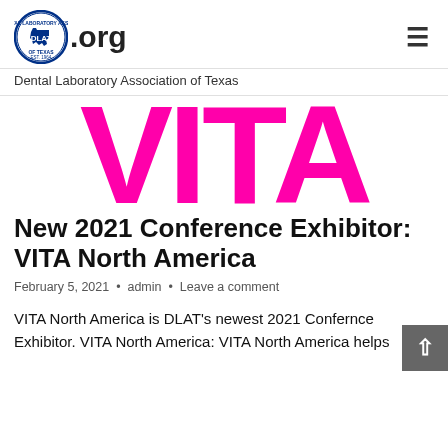dlat.org — Dental Laboratory Association of Texas
[Figure (logo): DLAT circular seal logo with Texas state shape and the text .org beside it, and a hamburger menu icon on the right]
Dental Laboratory Association of Texas
[Figure (illustration): Large bold magenta/hot-pink letters spelling VITA on a white background]
New 2021 Conference Exhibitor: VITA North America
February 5, 2021 • admin • Leave a comment
VITA North America is DLAT's newest 2021 Conference Exhibitor. VITA North America: VITA North America helps